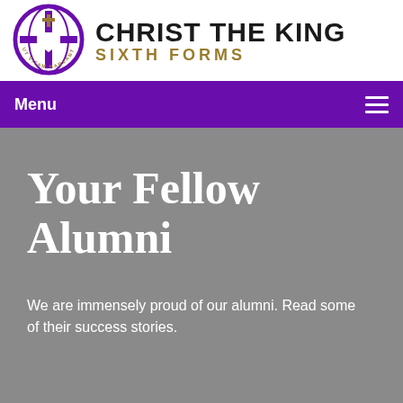[Figure (logo): Christ the King Sixth Forms logo: circular emblem with cross and globe motif, text 'UT VITAM HABEANT' around border, alongside text 'CHRIST THE KING' in bold black and 'SIXTH FORMS' in gold/dark yellow]
Menu
Your Fellow Alumni
We are immensely proud of our alumni. Read some of their success stories.